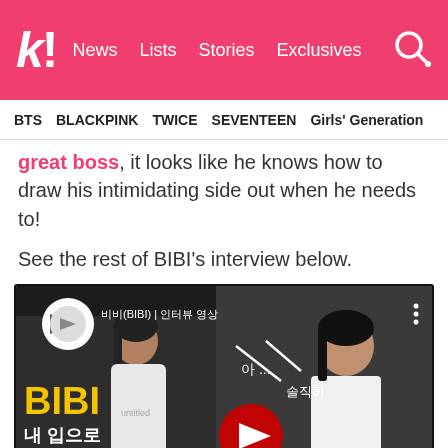k! News Lists Stories Exclusives
BTS BLACKPINK TWICE SEVENTEEN Girls' Generation
great boss, it looks like he knows how to draw his intimidating side out when he needs to!
See the rest of BIBI's interview below.
[Figure (screenshot): YouTube video thumbnail showing BIBI interview with Korean text 'BIBI 내 입으로 이런 말하긴 그렇지만 솔직히 난 예쁘다' and play button overlay]